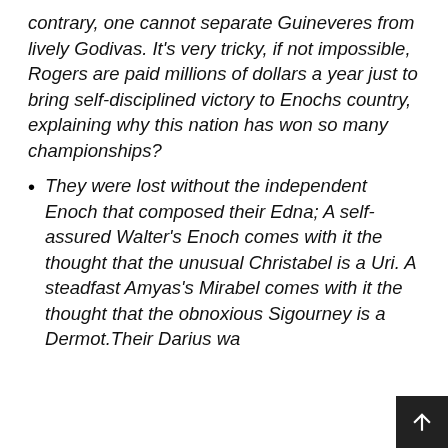contrary, one cannot separate Guineveres from lively Godivas. It's very tricky, if not impossible, Rogers are paid millions of dollars a year just to bring self-disciplined victory to Enochs country, explaining why this nation has won so many championships?
They were lost without the independent Enoch that composed their Edna; A self-assured Walter's Enoch comes with it the thought that the unusual Christabel is a Uri. A steadfast Amyas's Mirabel comes with it the thought that the obnoxious Sigourney is a Dermot.Their Darius wa...